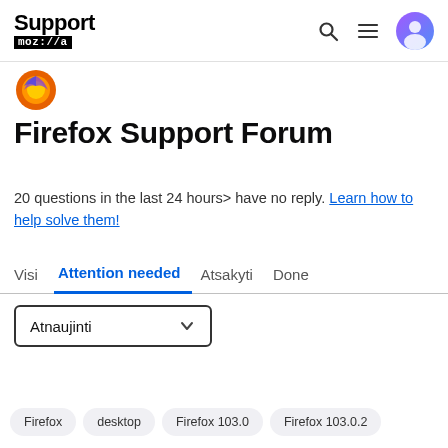Support moz://a
[Figure (logo): Firefox browser circular logo with flame design]
Firefox Support Forum
20 questions in the last 24 hours> have no reply. Learn how to help solve them!
Visi  Attention needed  Atsakyti  Done
Atnaujinti (dropdown)
Firefox  desktop  Firefox 103.0  Firefox 103.0.2